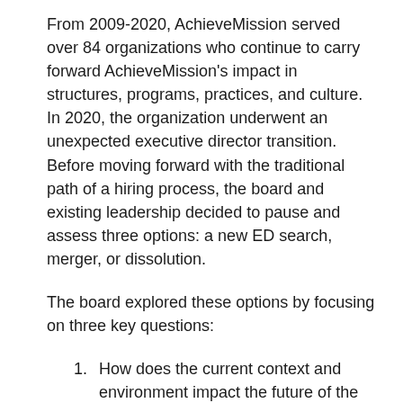From 2009-2020, AchieveMission served over 84 organizations who continue to carry forward AchieveMission's impact in structures, programs, practices, and culture. In 2020, the organization underwent an unexpected executive director transition. Before moving forward with the traditional path of a hiring process, the board and existing leadership decided to pause and assess three options: a new ED search, merger, or dissolution.
The board explored these options by focusing on three key questions:
How does the current context and environment impact the future of the organization?